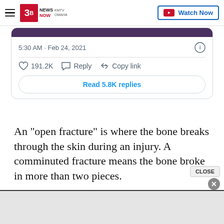[Figure (screenshot): KMTV 3 News Now Omaha navigation bar with hamburger menu, logo, and Watch Now button]
[Figure (screenshot): Tweet card showing timestamp 5:30 AM · Feb 24, 2021 with 191.2K likes, Reply, Copy link actions, and Read 5.8K replies button]
An "open fracture" is where the bone breaks through the skin during an injury. A comminuted fracture means the bone broke in more than two pieces.
[Figure (screenshot): Close button with X and gray advertisement bar at bottom of page]